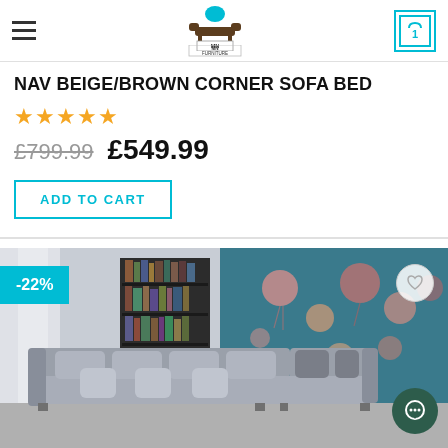MN FURNITURE
NAV BEIGE/BROWN CORNER SOFA BED
★★★★★
£799.99  £549.99
ADD TO CART
[Figure (photo): Interior room photo showing a large grey L-shaped corner sofa with cushions, set in a modern living room with a dark bookshelf, sheer curtains, and a teal/blue decorative wallpaper with jellyfish motif. A -22% discount badge is visible in the top-left corner.]